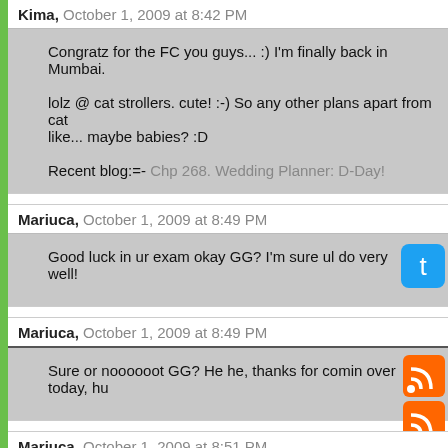Kima, October 1, 2009 at 8:42 PM
Congratz for the FC you guys... :) I'm finally back in Mumbai.

lolz @ cat strollers. cute! :-) So any other plans apart from cat strollers... like... maybe babies? :D

Recent blog:=- Chp 268. Wedding Planner: D-Day!
Mariuca, October 1, 2009 at 8:49 PM
Good luck in ur exam okay GG? I'm sure ul do very well!
Mariuca, October 1, 2009 at 8:49 PM
Sure or noooooot GG? He he, thanks for comin over today, hu
Mariuca, October 1, 2009 at 8:51 PM
Hahahahhaha GGG!!! If u were here in Malaysia, sure I'd set u